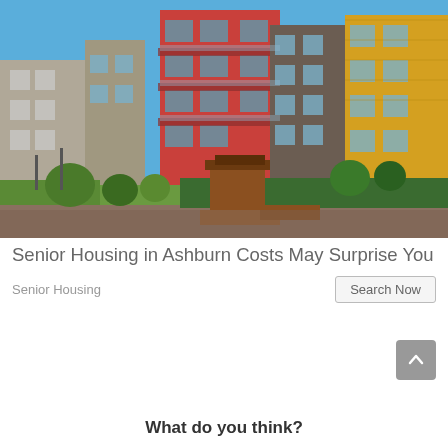[Figure (photo): Colorful modern apartment complex with red, yellow, and brown multi-story buildings featuring balconies, surrounded by green landscaping, trees, and a paved courtyard with wooden outdoor furniture and benches.]
Senior Housing in Ashburn Costs May Surprise You
Senior Housing
Search Now
What do you think?